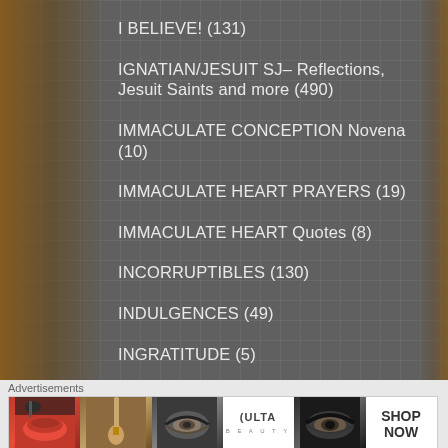I BELIEVE! (131)
IGNATIAN/JESUIT SJ– Reflections, Jesuit Saints and more (490)
IMMACULATE CONCEPTION Novena (10)
IMMACULATE HEART PRAYERS (19)
IMMACULATE HEART Quotes (8)
INCORRUPTIBLES (130)
INDULGENCES (49)
INGRATITUDE (5)
JANUARY month of THE MOST HOLY NAME of JESUS (69)
Advertisements
[Figure (photo): Ulta beauty advertisement banner showing makeup images including lips, brush, eyes, and Ulta logo with Shop Now text]